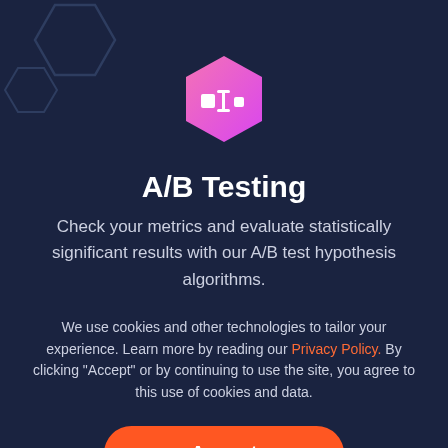[Figure (logo): Pink/magenta gradient hexagon icon with white A/B split interface symbol — two small squares and a vertical cursor line]
A/B Testing
Check your metrics and evaluate statistically significant results with our A/B test hypothesis algorithms.
We use cookies and other technologies to tailor your experience. Learn more by reading our Privacy Policy. By clicking “Accept” or by continuing to use the site, you agree to this use of cookies and data.
Accept